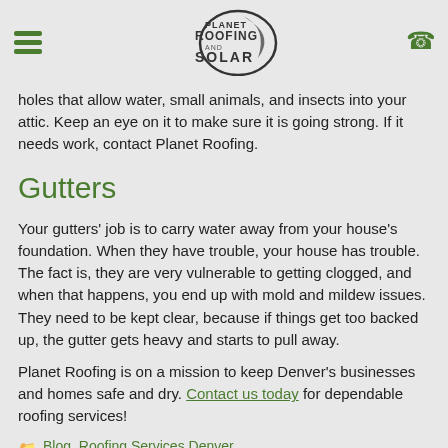[Planet Roofing and Solar logo with hamburger menu and phone icon]
holes that allow water, small animals, and insects into your attic. Keep an eye on it to make sure it is going strong. If it needs work, contact Planet Roofing.
Gutters
Your gutters' job is to carry water away from your house's foundation. When they have trouble, your house has trouble. The fact is, they are very vulnerable to getting clogged, and when that happens, you end up with mold and mildew issues. They need to be kept clear, because if things get too backed up, the gutter gets heavy and starts to pull away.
Planet Roofing is on a mission to keep Denver's businesses and homes safe and dry. Contact us today for dependable roofing services!
Blog, Roofing Services Denver
Affordable Roofing Denver, Roof Inspection Colorado, Roof Repair Denver, Roof Restoration Colorado